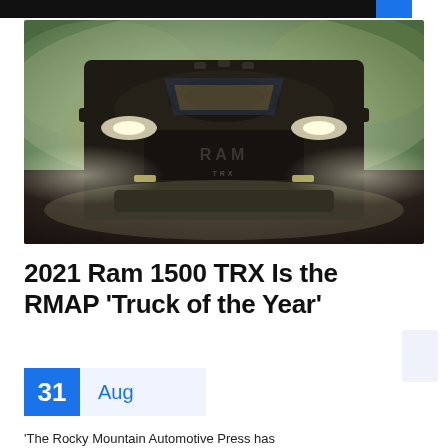[Figure (photo): Front-facing view of a dark 2021 RAM 1500 TRX truck with headlights on, driving through a dusty/smoky environment with a dramatic sunset sky in the background.]
2021 Ram 1500 TRX Is the RMAP 'Truck of the Year'
31 Aug
The Rocky Mountain Automotive Press has